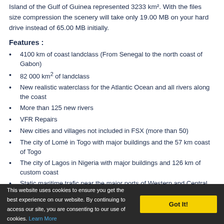Island of the Gulf of Guinea represented 3233 km². With the files size compression the scenery will take only 19.00 MB on your hard drive instead of 65.00 MB initially.
Features :
4100 km of coast landclass (From Senegal to the north coast of Gabon)
82 000 km² of landclass
New realistic waterclass for the Atlantic Ocean and all rivers along the coast
More than 125 new rivers
VFR Repairs
New cities and villages not included in FSX (more than 50)
The city of Lomé in Togo with major buildings and the 57 km coast of Togo
The city of Lagos in Nigeria with major buildings and 126 km of custom coast
Static maritime trafic near the major ports of Western and Central Africa and in the Atlantic Ocean
This website uses cookies to ensure you get the best experience on our website. By continuing to access our site, you are consenting to our use of cookies. Learn More